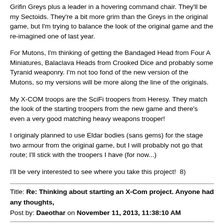Grifin Greys plus a leader in a hovering command chair. They'll be my Sectoids. They're a bit more grim than the Greys in the original game, but I'm trying to balance the look of the original game and the re-imagined one of last year.
For Mutons, I'm thinking of getting the Bandaged Head from Four A Miniatures, Balaclava Heads from Crooked Dice and probably some Tyranid weaponry. I'm not too fond of the new version of the Mutons, so my versions will be more along the line of the originals.
My X-COM troops are the SciFi troopers from Heresy. They match the look of the starting troopers from the new game and there's even a very good matching heavy weapons trooper!
I originaly planned to use Eldar bodies (sans gems) for the stage two armour from the original game, but I will probably not go that route; I'll stick with the troopers I have (for now...)
I'll be very interested to see where you take this project!  8)
Title: Re: Thinking about starting an X-Com project. Anyone had any thoughts,
Post by: Daeothar on November 11, 2013, 11:38:10 AM
Just had a thought; why not use the AT43 Karmans as Mutons? The same look to the armour, just the heads need replacing.